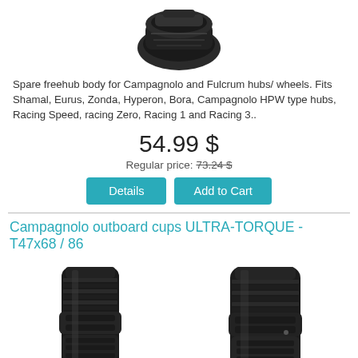[Figure (photo): Partial product photo of a freehub body component (top portion cut off)]
Spare freehub body for Campagnolo and Fulcrum hubs/ wheels.
Fits Shamal, Eurus, Zonda, Hyperon, Bora, Campagnolo HPW type hubs, Racing Speed, racing Zero, Racing 1 and Racing 3..
54.99 $
Regular price: 73.24 $
Details
Add to Cart
Campagnolo outboard cups ULTRA-TORQUE - T47x68 / 86
[Figure (photo): Two black Campagnolo outboard cup components side by side (bottom image, partially cropped)]